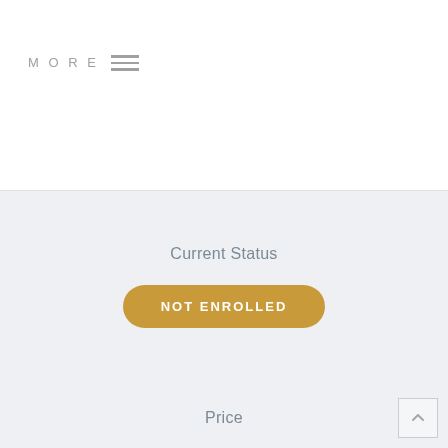MORE ☰
Current Status
NOT ENROLLED
Price
$58.00